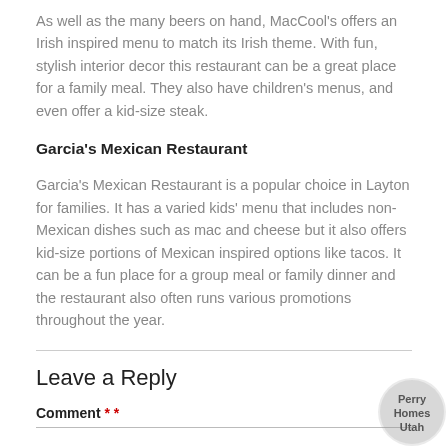As well as the many beers on hand, MacCool's offers an Irish inspired menu to match its Irish theme. With fun, stylish interior decor this restaurant can be a great place for a family meal. They also have children's menus, and even offer a kid-size steak.
Garcia's Mexican Restaurant
Garcia's Mexican Restaurant is a popular choice in Layton for families. It has a varied kids' menu that includes non-Mexican dishes such as mac and cheese but it also offers kid-size portions of Mexican inspired options like tacos. It can be a fun place for a group meal or family dinner and the restaurant also often runs various promotions throughout the year.
Leave a Reply
Comment * *